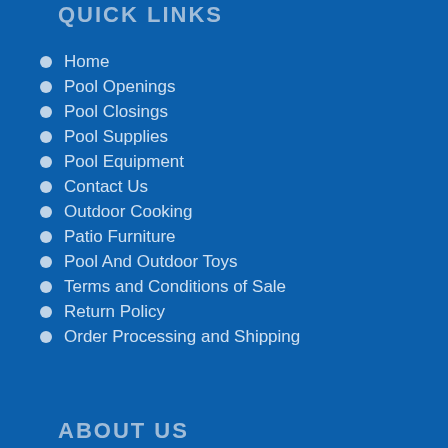QUICK LINKS
Home
Pool Openings
Pool Closings
Pool Supplies
Pool Equipment
Contact Us
Outdoor Cooking
Patio Furniture
Pool And Outdoor Toys
Terms and Conditions of Sale
Return Policy
Order Processing and Shipping
ABOUT US